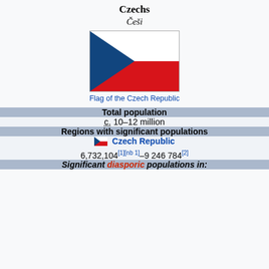Czechs
Češi
[Figure (illustration): Flag of the Czech Republic — white top half, red bottom half, blue triangle on the left]
Flag of the Czech Republic
| Total population |
| c. 10–12 million |
| Regions with significant populations |
| Czech Republic | 6,732,104[1][nb 1]–9 246 784[2] |
| Significant diasporic populations in: |